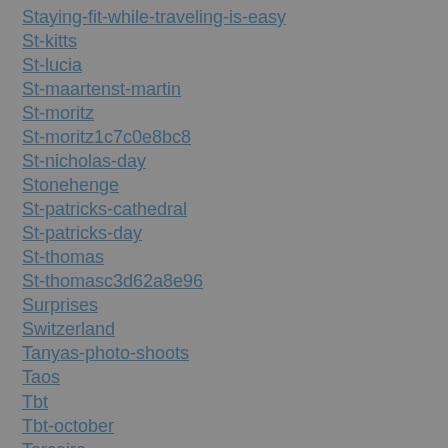Staying-fit-while-traveling-is-easy
St-kitts
St-lucia
St-maartenst-martin
St-moritz
St-moritz1c7c0e8bc8
St-nicholas-day
Stonehenge
St-patricks-cathedral
St-patricks-day
St-thomas
St-thomasc3d62a8e96
Surprises
Switzerland
Tanyas-photo-shoots
Taos
Tbt
Tbt-october
Terceira
The-audience
The-butchery-nyc